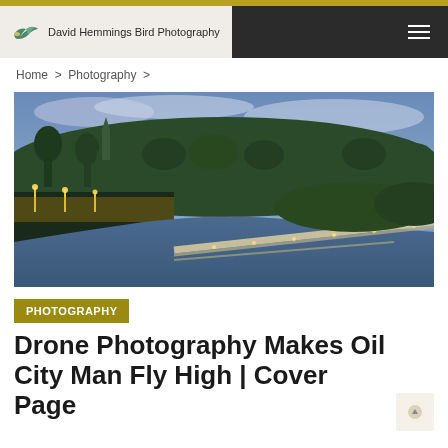David Hemmings Bird Photography
Home > Photography >
[Figure (photo): Aerial drone photograph of Oil City at dusk/night, showing a lit bridge over a river, city lights, tree-covered hills, and a church steeple in the background under a cloudy blue sky.]
PHOTOGRAPHY
Drone Photography Makes Oil City Man Fly High | Cover Page